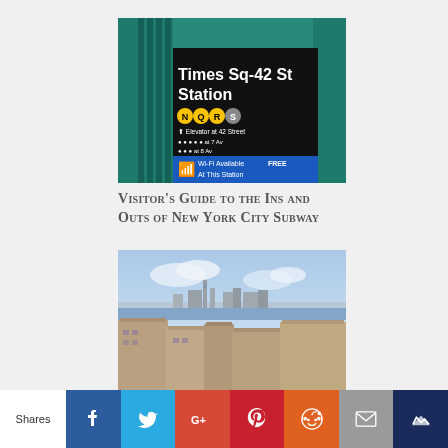[Figure (photo): Times Sq-42 St Station subway entrance sign with green railings, showing N Q R S lines, Wi-Fi available sign]
Visitor's Guide to the Ins and Outs of New York City Subway
[Figure (photo): New York City skyline aerial view with Manhattan skyscrapers in the background and rooftops in the foreground]
Shares | Facebook | Twitter | Google+ | Pinterest | Reddit | Email | Crown